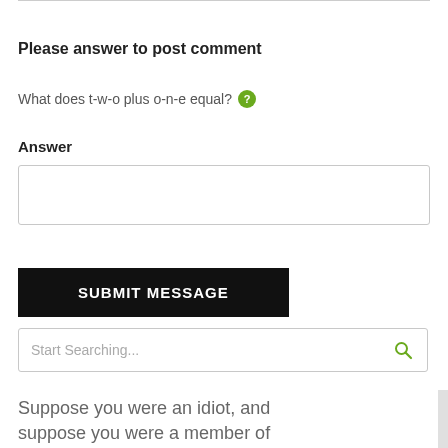Please answer to post comment
What does t-w-o plus o-n-e equal? ?
Answer
[Figure (other): Text input box for the answer field]
[Figure (other): SUBMIT MESSAGE button, black background, white uppercase text]
[Figure (other): Search bar with placeholder text 'Start Searching...' and green search icon]
Suppose you were an idiot, and suppose you were a member of